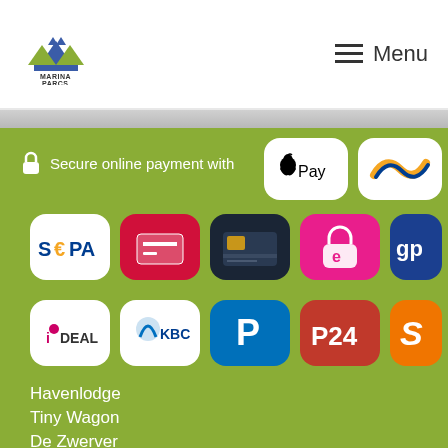Marina Parcs — Menu
[Figure (infographic): Secure online payment methods grid showing Apple Pay, Sofort, SEPA, credit card, iDEAL, Carte Bancaire, gp, KBC, PayPal, P24, Sezzle payment logos]
Havenlodge
Tiny Wagon
De Zwerver
Chalet by the water